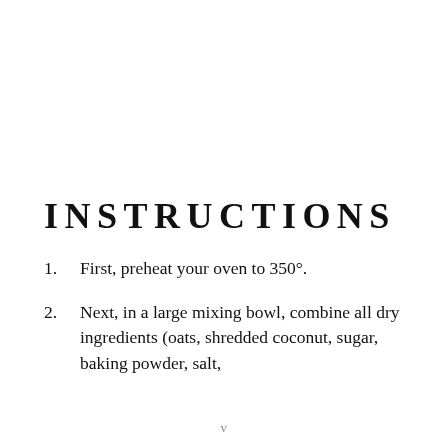INSTRUCTIONS
First, preheat your oven to 350°.
Next, in a large mixing bowl, combine all dry ingredients (oats, shredded coconut, sugar, baking powder, salt,